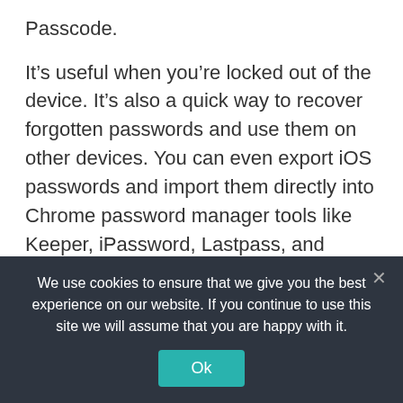Passcode.
It’s useful when you’re locked out of the device. It’s also a quick way to recover forgotten passwords and use them on other devices. You can even export iOS passwords and import them directly into Chrome password manager tools like Keeper, iPassword, Lastpass, and Dashlane.
Virtual Location
This is an interesting feature since it all
We use cookies to ensure that we give you the best experience on our website. If you continue to use this site we will assume that you are happy with it.